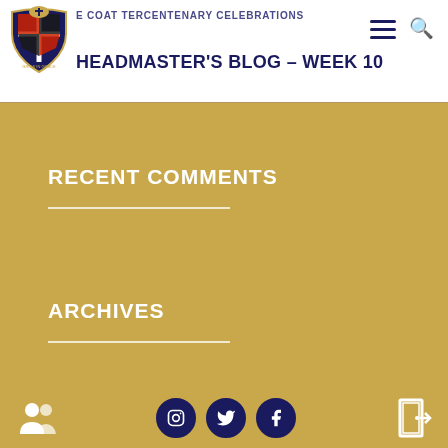THE BLUE COAT TERCENTENARY CELEBRATIONS
HEADMASTER'S BLOG – WEEK 10
RECENT COMMENTS
ARCHIVES
JULY 2022
[Figure (logo): Blue Coat School crest/logo — circular badge with cross, red and black quarters, and text 'GROW IN GRACE']
Social icons: Instagram, Twitter, Facebook. People icon and door/exit icon.